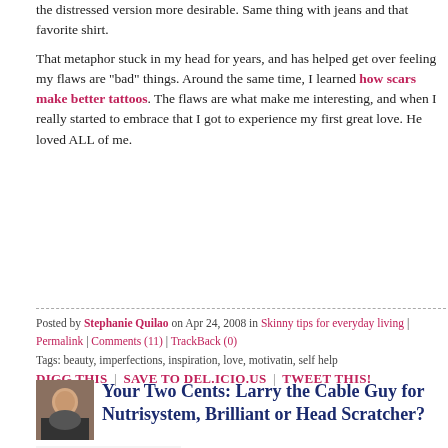the distressed version more desirable. Same thing with jeans and that favorite shirt.
That metaphor stuck in my head for years, and has helped get over feeling my flaws are "bad" things. Around the same time, I learned how scars make better tattoos. The flaws are what make me interesting, and when I really started to embrace that I got to experience my first great love. He loved ALL of me.
Posted by Stephanie Quilao on Apr 24, 2008 in Skinny tips for everyday living | Permalink | Comments (11) | TrackBack (0)
Tags: beauty, imperfections, inspiration, love, motivatin, self help
DIGG THIS | SAVE TO DEL.ICIO.US | TWEET THIS!
Your Two Cents: Larry the Cable Guy for Nutrisystem, Brilliant or Head Scratcher?
[Figure (illustration): Red exclamation mark block with 'Your Two cents' text and grey question mark symbols around it]
This weekend I saw the new TV commercial for Nutrisystem featuring Dan Marino and Larry the Cable Guy. I had to do a serious double take because I would never have expected to hear 'Git-R-Done' and Nutrisystem in the same sentence. Larry has shed 50 lbs and I have to say that he looks much healthier. You can see the comme... here at USA Today.